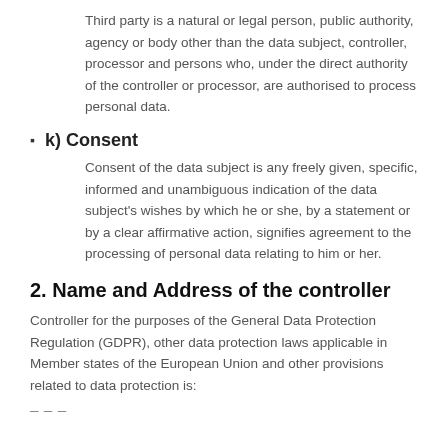Third party is a natural or legal person, public authority, agency or body other than the data subject, controller, processor and persons who, under the direct authority of the controller or processor, are authorised to process personal data.
k) Consent
Consent of the data subject is any freely given, specific, informed and unambiguous indication of the data subject's wishes by which he or she, by a statement or by a clear affirmative action, signifies agreement to the processing of personal data relating to him or her.
2. Name and Address of the controller
Controller for the purposes of the General Data Protection Regulation (GDPR), other data protection laws applicable in Member states of the European Union and other provisions related to data protection is: